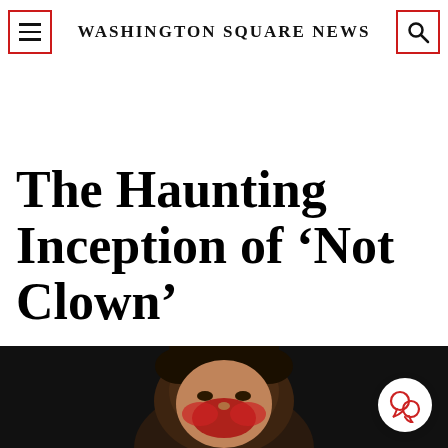Washington Square News
The Haunting Inception of ‘Not Clown’
[Figure (photo): A person with dark hair and red makeup/paint on their face against a dark background, partially visible at the bottom of the page.]